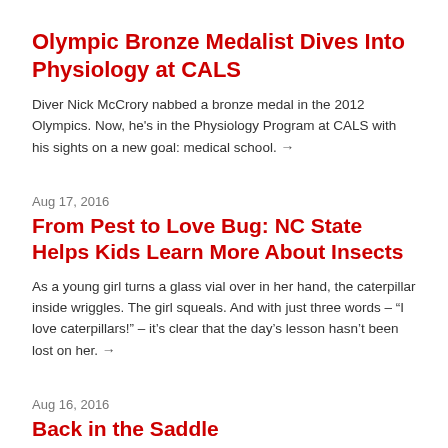Olympic Bronze Medalist Dives Into Physiology at CALS
Diver Nick McCrory nabbed a bronze medal in the 2012 Olympics. Now, he's in the Physiology Program at CALS with his sights on a new goal: medical school. →
Aug 17, 2016
From Pest to Love Bug: NC State Helps Kids Learn More About Insects
As a young girl turns a glass vial over in her hand, the caterpillar inside wriggles. The girl squeals. And with just three words – "I love caterpillars!" – it's clear that the day's lesson hasn't been lost on her. →
Aug 16, 2016
Back in the Saddle